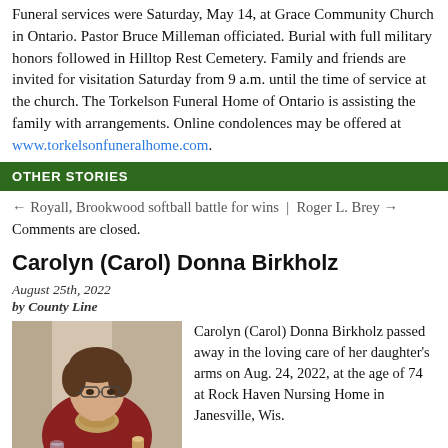Funeral services were Saturday, May 14, at Grace Community Church in Ontario. Pastor Bruce Milleman officiated. Burial with full military honors followed in Hilltop Rest Cemetery. Family and friends are invited for visitation Saturday from 9 a.m. until the time of service at the church. The Torkelson Funeral Home of Ontario is assisting the family with arrangements. Online condolences may be offered at www.torkelsonfuneralhome.com.
OTHER STORIES
← Royall, Brookwood softball battle for wins | Roger L. Brey →
Comments are closed.
Carolyn (Carol) Donna Birkholz
August 25th, 2022
by County Line
[Figure (photo): Portrait photo of Carolyn (Carol) Donna Birkholz, a woman with short hair and glasses, wearing a dark red top with a scarf, seated indoors.]
Carolyn (Carol) Donna Birkholz passed away in the loving care of her daughter's arms on Aug. 24, 2022, at the age of 74 at Rock Haven Nursing Home in Janesville, Wis.